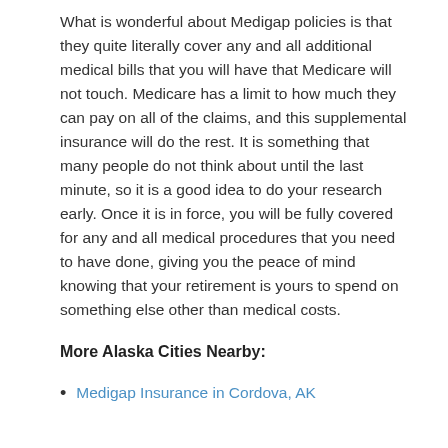What is wonderful about Medigap policies is that they quite literally cover any and all additional medical bills that you will have that Medicare will not touch. Medicare has a limit to how much they can pay on all of the claims, and this supplemental insurance will do the rest. It is something that many people do not think about until the last minute, so it is a good idea to do your research early. Once it is in force, you will be fully covered for any and all medical procedures that you need to have done, giving you the peace of mind knowing that your retirement is yours to spend on something else other than medical costs.
More Alaska Cities Nearby:
Medigap Insurance in Cordova, AK